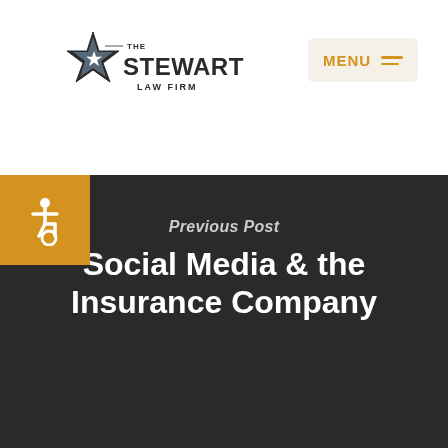[Figure (logo): The Stewart Law Firm logo with a star icon and firm name text]
[Figure (other): Menu button with orange MENU text and hamburger lines on a light beige background]
[Figure (other): Orange square accessibility icon with wheelchair symbol]
Previous Post
Social Media & the Insurance Company